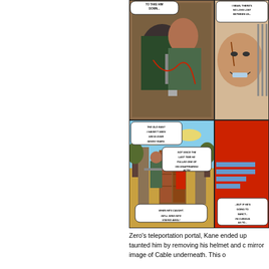[Figure (illustration): Comic book panels showing action scenes. Top panel: close-up of characters grappling, one with metal arm. Speech bubble: 'TO TAKE HIM DOWN...' and 'I MEAN, THERE'S NO LOVE LOST BETWEEN US--'. Bottom panel: two armored figures standing near large wooden doors in a desert setting. Speech bubbles: 'THE OLD MAN? I HAVEN'T SEEN HIM IN OVER SEVEN YEARS.', 'NOT SINCE THE LAST TIME HE PULLED ONE OF HIS DISAPPEARING ACTS!', 'WHEN HE'S CAUGHT, HE'LL WISH HE'D STAYED AWOL!'. Right side panel showing close-up of man's face smiling and partial figure in red with speech bubble: 'GOING T SANCT. I'M CU AS TO']
Zero's teleportation portal, Kane ended up taunted him by removing his helmet and c mirror image of Cable underneath. This o